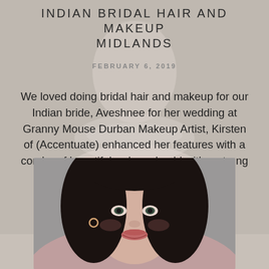INDIAN BRIDAL HAIR AND MAKEUP MIDLANDS
FEBRUARY 6, 2019
We loved doing bridal hair and makeup for our Indian bride, Aveshnee for her wedding at Granny Mouse Durban Makeup Artist, Kirsten of (Accentuate) enhanced her features with a combo of beautiful reds and gold with a strong liner. Photos by Conway
[Figure (photo): Portrait photo of a woman with dark hair, subtle makeup with pink/red lips, smiling slightly, wearing an earring, against a grey-pink background]